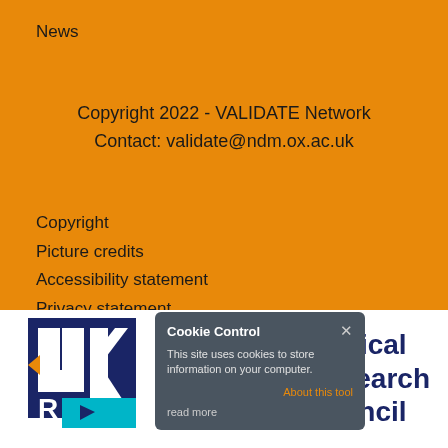News
Copyright 2022 - VALIDATE Network
Contact: validate@ndm.ox.ac.uk
Copyright
Picture credits
Accessibility statement
Privacy statement
[Figure (screenshot): Cookie Control popup overlay with dark gray background. Header: 'Cookie Control' with X close button. Body text: 'This site uses cookies to store information on your computer.' Link: 'About this tool'. Link: 'read more'.]
[Figure (logo): UK Research and Innovation / Medical Research Council logo. Dark navy blue geometric logo on left, 'Medical Research Council' text in dark navy on right.]